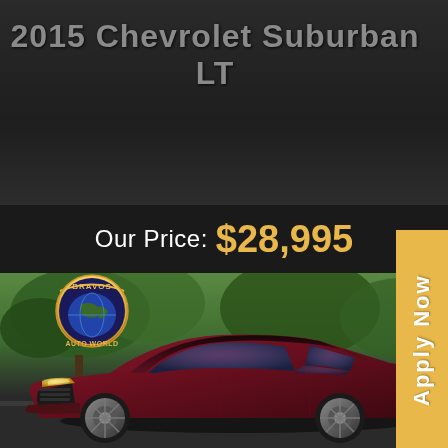2015 Chevrolet Suburban LT
Our Price: $28,995
[Figure (photo): Dark red/maroon sedan (Dodge Charger style) parked on a street with green trees in background. Bravos Auto World gold medallion logo in lower left of image.]
Apply Now